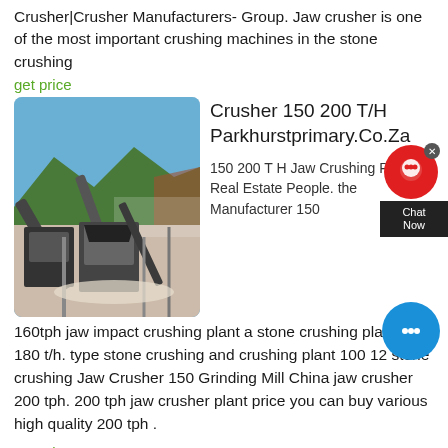Crusher|Crusher Manufacturers- Group. Jaw crusher is one of the most important crushing machines in the stone crushing
get price
[Figure (photo): Outdoor stone crushing plant with conveyor belts and machinery, mountainous background]
Crusher 150 200 T/H Parkhurstprimary.Co.Za
150 200 T H Jaw Crushing Plant Th Real Estate People. the Manufacturer 150
160tph jaw impact crushing plant a stone crushing plant 150 180 t/h. type stone crushing and crushing plant 100 12 stone crushing Jaw Crusher 150 Grinding Mill China jaw crusher 200 tph. 200 tph jaw crusher plant price you can buy various high quality 200 tph .
get price
[Figure (photo): Outdoor conveyor/crusher machinery against blue sky with clouds]
Impact Crusher For Sale 100 To 150 Tph Cz-